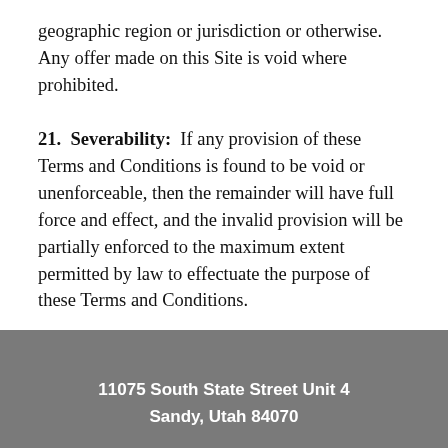geographic region or jurisdiction or otherwise.  Any offer made on this Site is void where prohibited.
21.  Severability:  If any provision of these Terms and Conditions is found to be void or unenforceable, then the remainder will have full force and effect, and the invalid provision will be partially enforced to the maximum extent permitted by law to effectuate the purpose of these Terms and Conditions.
11075 South State Street Unit 4
Sandy, Utah 84070